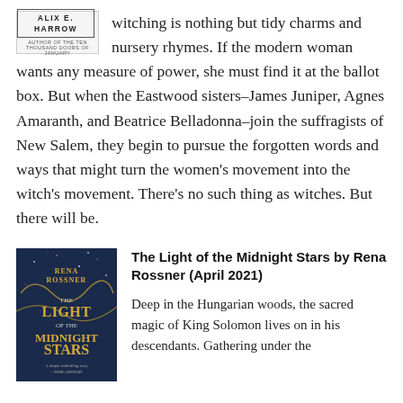[Figure (illustration): Book cover placeholder showing author name ALIX E. HARROW with border]
witching is nothing but tidy charms and nursery rhymes. If the modern woman wants any measure of power, she must find it at the ballot box. But when the Eastwood sisters–James Juniper, Agnes Amaranth, and Beatrice Belladonna–join the suffragists of New Salem, they begin to pursue the forgotten words and ways that might turn the women's movement into the witch's movement. There's no such thing as witches. But there will be.
[Figure (illustration): Book cover of The Light of the Midnight Stars by Rena Rossner — dark blue background with gold title text and decorative floral elements, stars in background]
The Light of the Midnight Stars by Rena Rossner (April 2021)
Deep in the Hungarian woods, the sacred magic of King Solomon lives on in his descendants. Gathering under the